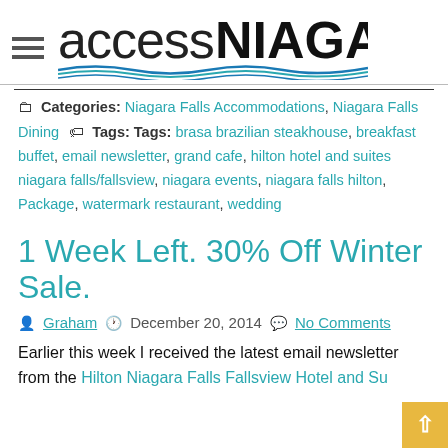access NIAGARA
Categories: Niagara Falls Accommodations, Niagara Falls Dining   Tags: Tags: brasa brazilian steakhouse, breakfast buffet, email newsletter, grand cafe, hilton hotel and suites niagara falls/fallsview, niagara events, niagara falls hilton, Package, watermark restaurant, wedding
1 Week Left. 30% Off Winter Sale.
Graham   December 20, 2014   No Comments
Earlier this week I received the latest email newsletter from the Hilton Niagara Falls Fallsview Hotel and Su...